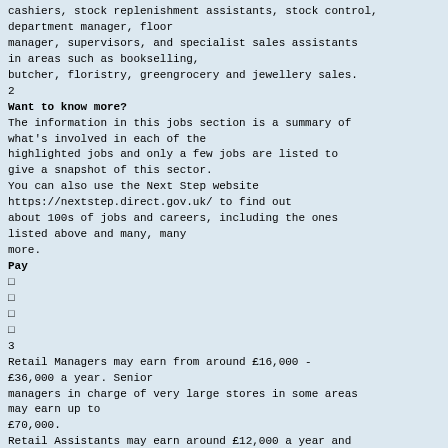cashiers, stock replenishment assistants, stock control, department manager, floor manager, supervisors, and specialist sales assistants in areas such as bookselling, butcher, floristry, greengrocery and jewellery sales.
2
Want to know more?
The information in this jobs section is a summary of what's involved in each of the highlighted jobs and only a few jobs are listed to give a snapshot of this sector.
You can also use the Next Step website https://nextstep.direct.gov.uk/ to find out about 100s of jobs and careers, including the ones listed above and many, many more.
Pay
□
□
□
□
3
Retail Managers may earn from around £16,000 - £36,000 a year. Senior managers in charge of very large stores in some areas may earn up to £70,000.
Retail Assistants may earn around £12,000 a year and with experience may be able to earn between £13,000 and £16,000.
Checkout operators may earn around £12,000 a year and with experience may be able to earn £16,000 or more.